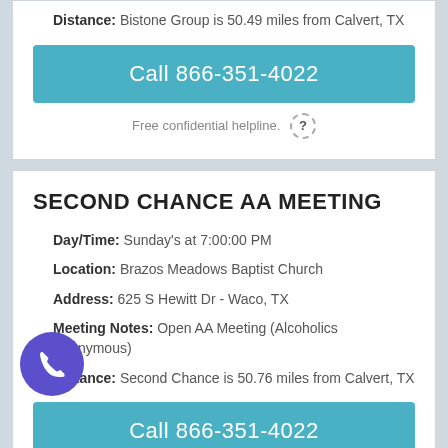Distance: Bistone Group is 50.49 miles from Calvert, TX
Call 866-351-4022
Free confidential helpline.
SECOND CHANCE AA MEETING
Day/Time: Sunday's at 7:00:00 PM
Location: Brazos Meadows Baptist Church
Address: 625 S Hewitt Dr - Waco, TX
Meeting Notes: Open AA Meeting (Alcoholics Anonymous)
Distance: Second Chance is 50.76 miles from Calvert, TX
Call 866-351-4022